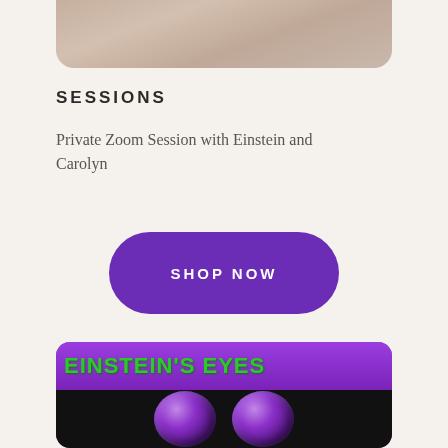[Figure (photo): Partial photo of a person at the top of the page, cropped, showing skin tones and dark background]
SESSIONS
Private Zoom Session with Einstein and Carolyn
SHOP NOW
[Figure (photo): Einstein's Eyes banner image showing two large purple crystal balls on a purple background with green text 'EINSTEIN'S EYES']